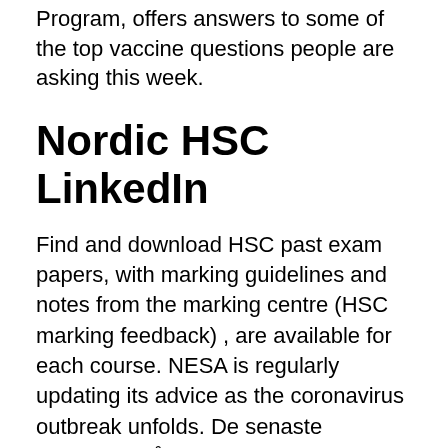Program, offers answers to some of the top vaccine questions people are asking this week.
Nordic HSC LinkedIn
Find and download HSC past exam papers, with marking guidelines and notes from the marking centre (HSC marking feedback) , are available for each course. NESA is regularly updating its advice as the coronavirus outbreak unfolds. De senaste tweetarna från @NISTAR_HSC HSC DELPHIN. Byggd 1996 av Austal Ships Henderson Fremantle Australien. Varvsnummer 46. Dimensioner.
HI- TECH QUALITY SERVICES is a leading certification consulting organization in Saudi Arabia.